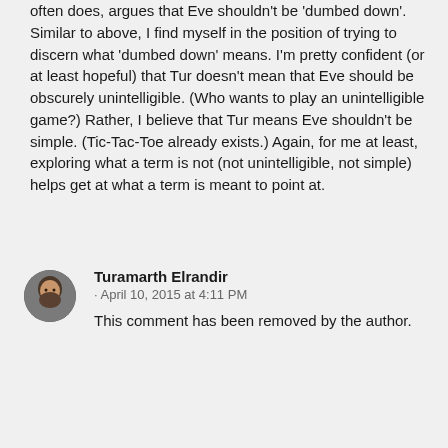often does, argues that Eve shouldn't be 'dumbed down'. Similar to above, I find myself in the position of trying to discern what 'dumbed down' means. I'm pretty confident (or at least hopeful) that Tur doesn't mean that Eve should be obscurely unintelligible. (Who wants to play an unintelligible game?) Rather, I believe that Tur means Eve shouldn't be simple. (Tic-Tac-Toe already exists.) Again, for me at least, exploring what a term is not (not unintelligible, not simple) helps get at what a term is meant to point at.
Turamarth Elrandir
· April 10, 2015 at 4:11 PM
This comment has been removed by the author.